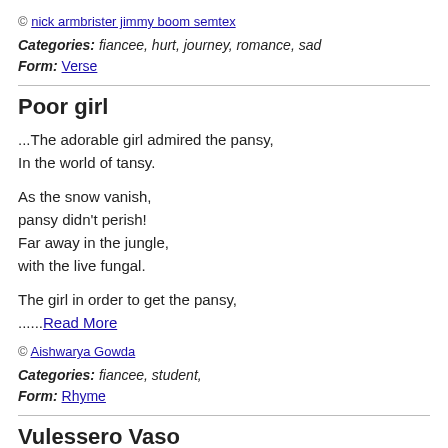© nick armbrister jimmy boom semtex
Categories: fiancee, hurt, journey, romance, sad
Form: Verse
Poor girl
...The adorable girl admired the pansy,
In the world of tansy.

As the snow vanish,
pansy didn't perish!
Far away in the jungle,
with the live fungal.

The girl in order to get the pansy,
......Read More
© Aishwarya Gowda
Categories: fiancee, student,
Form: Rhyme
Vulessero Vaso